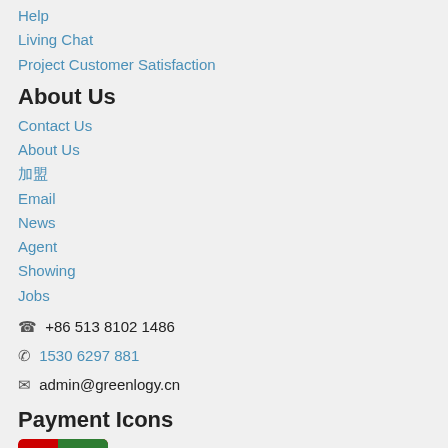Help
Living Chat
Project Customer Satisfaction
About Us
Contact Us
About Us
加盟
Email
News
Agent
Showing
Jobs
☎ +86 513 8102 1486
✆ 1530 6297 881
✉ admin@greenlogy.cn
Payment Icons
[Figure (logo): UnionPay (银联) payment logo badge — red and green rectangle with white text]